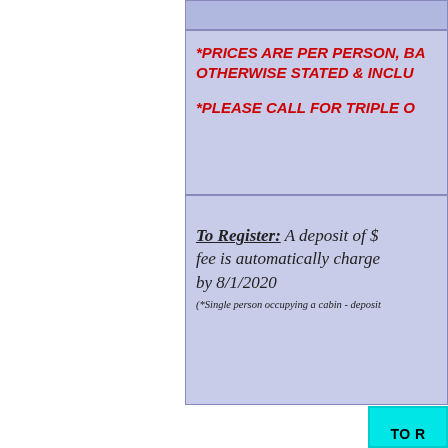*PRICES ARE PER PERSON, BASED ON DOUBLE OCCUPANCY UNLESS OTHERWISE STATED & INCLU...
*PLEASE CALL FOR TRIPLE O...
To Register: A deposit of $... fee is automatically charged... by 8/1/2020
(*Single person occupying a cabin - deposit ...
TO R